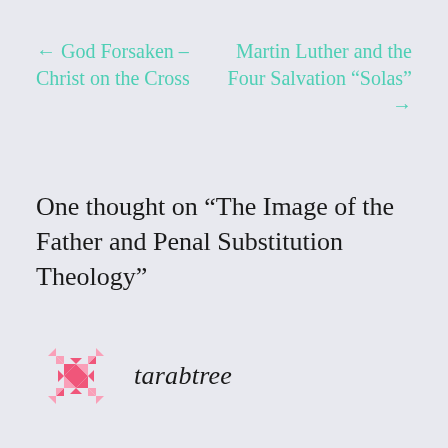← God Forsaken – Christ on the Cross
Martin Luther and the Four Salvation “Solas” →
One thought on “The Image of the Father and Penal Substitution Theology”
[Figure (logo): Pink geometric snowflake/quilt pattern logo]
tarabtree